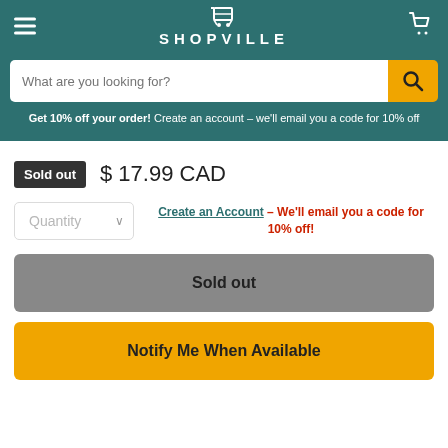SHOPVILLE - navigation header with search bar
Get 10% off your order! Create an account - we'll email you a code for 10% off
Sold out  $ 17.99 CAD
Quantity  Create an Account - We'll email you a code for 10% off!
Sold out
Notify Me When Available